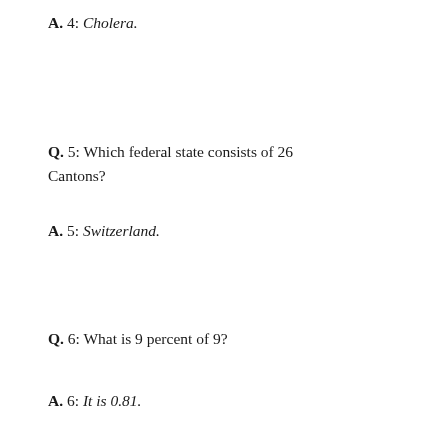A.  4:  Cholera.
Q.  5:  Which federal state consists of 26 Cantons?
A.  5:  Switzerland.
Q.  6:  What is 9 percent of 9?
A.  6:  It is 0.81.